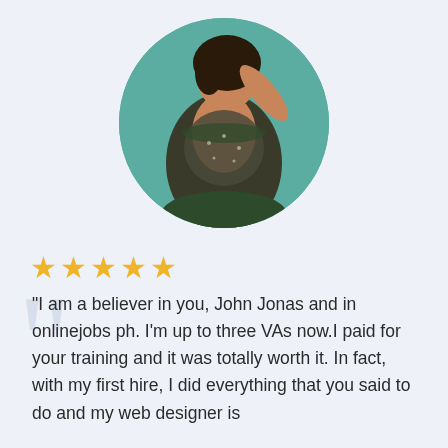[Figure (photo): A woman in a sparkly green and black feathered costume, posed with one arm raised, against a teal/green background. Shown in a circular crop.]
★★★★★
"I am a believer in you, John Jonas and in onlinejobs ph. I'm up to three VAs now.I paid for your training and it was totally worth it. In fact, with my first hire, I did everything that you said to do and my web designer is